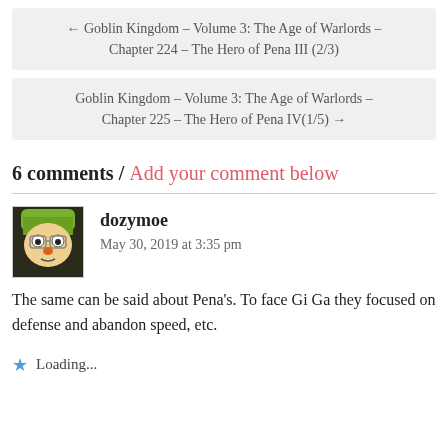← Goblin Kingdom – Volume 3: The Age of Warlords – Chapter 224 – The Hero of Pena III (2/3)
Goblin Kingdom – Volume 3: The Age of Warlords – Chapter 225 – The Hero of Pena IV(1/5) →
6 comments / Add your comment below
dozymoe
May 30, 2019 at 3:35 pm
The same can be said about Pena's. To face Gi Ga they focused on defense and abandon speed, etc.
Loading...